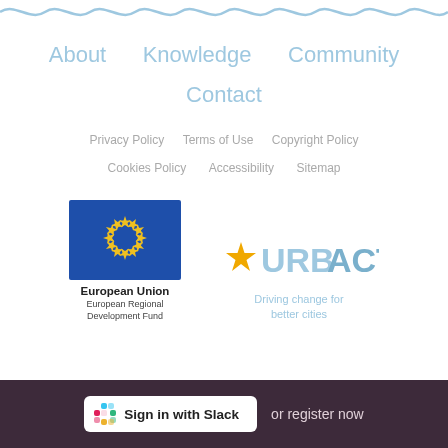[Figure (illustration): Wavy decorative border at the top of the page in light blue]
About
Knowledge
Community
Contact
Privacy Policy
Terms of Use
Copyright Policy
Cookies Policy
Accessibility
Sitemap
[Figure (logo): European Union flag with circle of yellow stars on blue background, labeled 'European Union European Regional Development Fund']
[Figure (logo): URBACT logo with gold star and light blue text 'URBACT Driving change for better cities']
Sign in with Slack  or register now